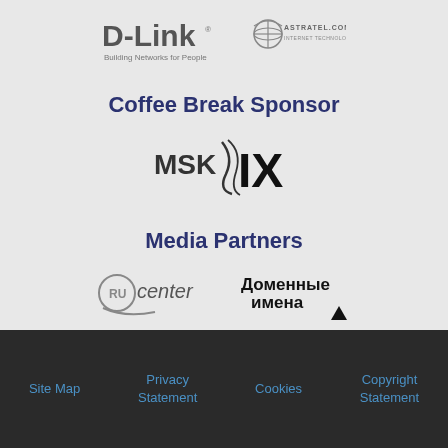[Figure (logo): D-Link logo — 'D-Link Building Networks for People' and AstraTel.com logo side by side]
Coffee Break Sponsor
[Figure (logo): MSK-IX logo]
Media Partners
[Figure (logo): RU-center logo and Domennie Imena (Доменные имена) logo side by side]
Site Map   Privacy Statement   Cookies   Copyright Statement